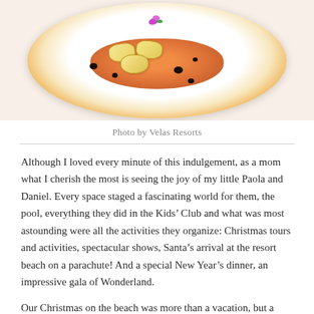[Figure (photo): A gourmet plate with pasta/ravioli pieces on orange sauce with dark sauce drops and a purple flower garnish, on a plate with an orange rim border.]
Photo by Velas Resorts
Although I loved every minute of this indulgement, as a mom what I cherish the most is seeing the joy of my little Paola and Daniel. Every space staged a fascinating world for them, the pool, everything they did in the Kids’ Club and what was most astounding were all the activities they organize: Christmas tours and activities, spectacular shows, Santa’s arrival at the resort beach on a parachute! And a special New Year’s dinner, an impressive gala of Wonderland.
Our Christmas on the beach was more than a vacation, but a family gift that I will share again this year.